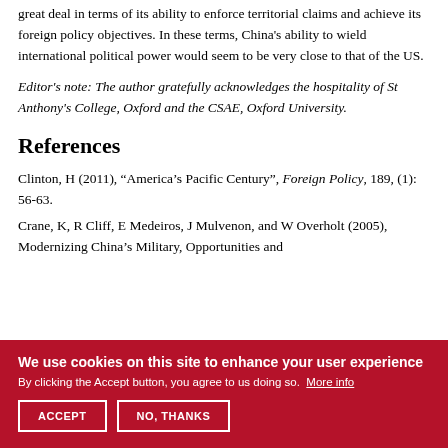great deal in terms of its ability to enforce territorial claims and achieve its foreign policy objectives. In these terms, China's ability to wield international political power would seem to be very close to that of the US.
Editor's note: The author gratefully acknowledges the hospitality of St Anthony's College, Oxford and the CSAE, Oxford University.
References
Clinton, H (2011), “America’s Pacific Century”, Foreign Policy, 189, (1): 56-63.
Crane, K, R Cliff, E Medeiros, J Mulvenon, and W Overholt (2005), Modernizing China's Military, Opportunities and
We use cookies on this site to enhance your user experience
By clicking the Accept button, you agree to us doing so. More info
ACCEPT
NO, THANKS